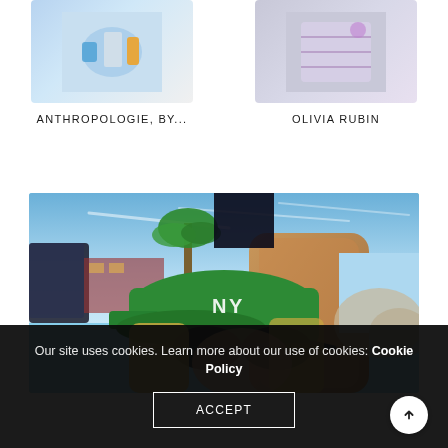[Figure (photo): Product thumbnail - colorful item, labeled ANTHROPOLOGIE, BY...]
ANTHROPOLOGIE, BY...
[Figure (photo): Product thumbnail - patterned item, labeled OLIVIA RUBIN]
OLIVIA RUBIN
[Figure (photo): Woman wearing green baseball cap with NY logo and sunglasses, taking a selfie in a convertible car with palm trees and blue sky in background]
Our site uses cookies. Learn more about our use of cookies: Cookie Policy
ACCEPT